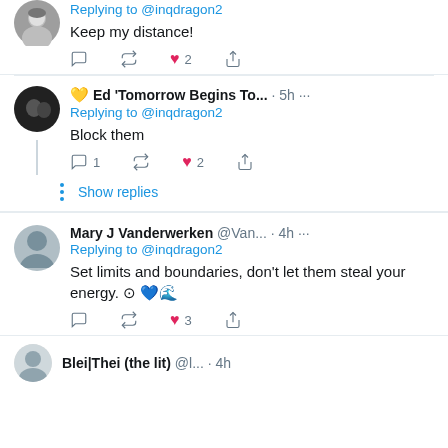[Figure (screenshot): Twitter/X screenshot showing social media replies]
Replying to @inqdragon2
Keep my distance!
💛 Ed 'Tomorrow Begins To... · 5h ···
Replying to @inqdragon2
Block them
Show replies
Mary J Vanderwerken @Van... · 4h ···
Replying to @inqdragon2
Set limits and boundaries, don't let them steal your energy. ⊙ 💙🌊
Blei|Thei (the lit) @... · 4h